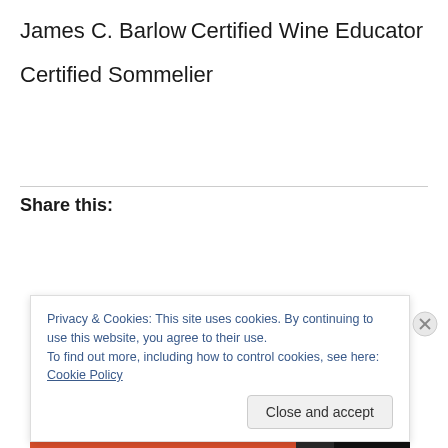James C. Barlow
Certified Wine Educator
Certified Sommelier
Share this:
Privacy & Cookies: This site uses cookies. By continuing to use this website, you agree to their use.
To find out more, including how to control cookies, see here: Cookie Policy
Close and accept